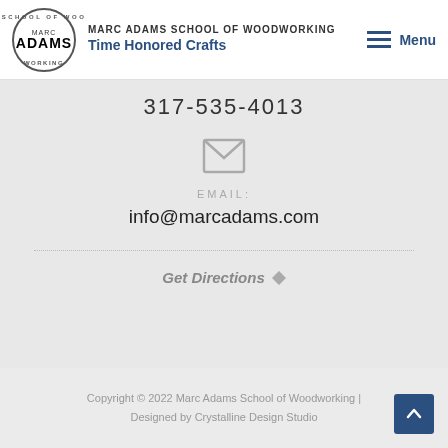MARC ADAMS SCHOOL OF WOODWORKING Time Honored Crafts
317-535-4013
[Figure (illustration): Email envelope icon]
EMAIL:
info@marcadams.com
Get Directions
Copyright © 2022 Marc Adams School of Woodworking | Designed by Crystalline Design Studio